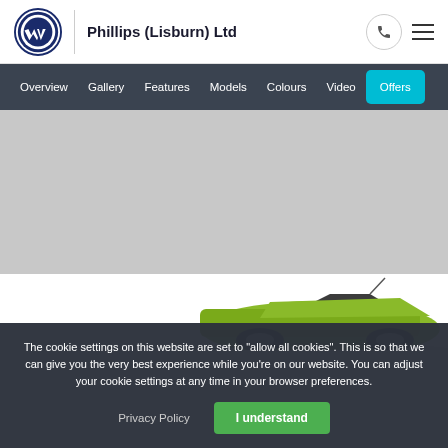Phillips (Lisburn) Ltd
Overview | Gallery | Features | Models | Colours | Video | Offers
[Figure (photo): Gray placeholder hero image area]
[Figure (photo): Partial view of a green/yellow Volkswagen car from rear angle]
The cookie settings on this website are set to "allow all cookies". This is so that we can give you the very best experience while you're on our website. You can adjust your cookie settings at any time in your browser preferences.
Privacy Policy
I understand